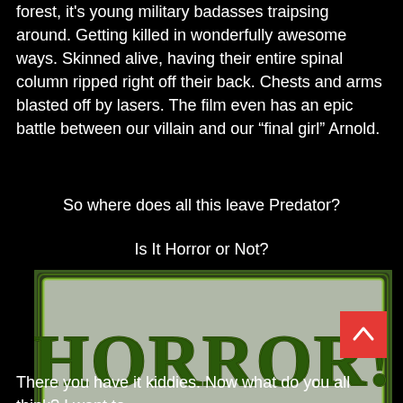forest, it's young military badasses traipsing around. Getting killed in wonderfully awesome ways. Skinned alive, having their entire spinal column ripped right off their back. Chests and arms blasted off by lasers. The film even has an epic battle between our villain and our “final girl” Arnold.
So where does all this leave Predator?
Is It Horror or Not?
[Figure (photo): Image with dark green border showing the word HORROR! in large dark green horror-style font on a grey background with a green glow effect]
There you have it kiddies. Now what do you all think? I want to